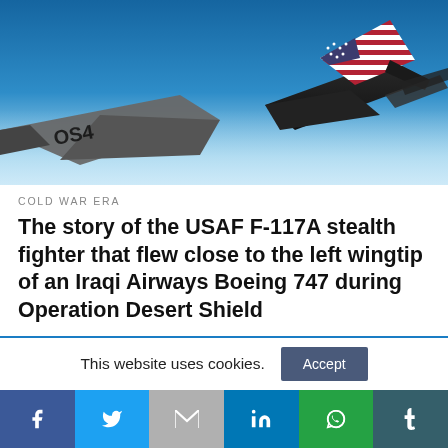[Figure (photo): Two military stealth aircraft (F-117A Nighthawks) flying in blue sky, one with US flag livery on its tail fin]
COLD WAR ERA
The story of the USAF F-117A stealth fighter that flew close to the left wingtip of an Iraqi Airways Boeing 747 during Operation Desert Shield
This website uses cookies.
[Figure (infographic): Social media share bar with Facebook, Twitter, Gmail, LinkedIn, WhatsApp, and Tumblr icons]